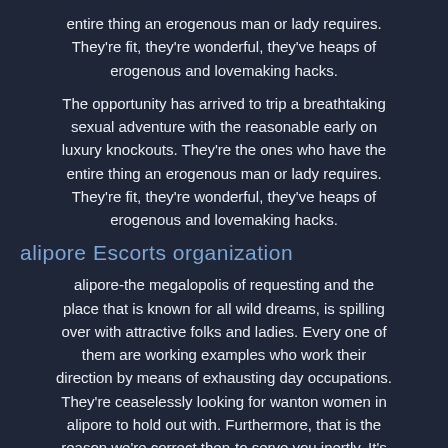entire thing an erogenous man or lady requires. They're fit, they're wonderful, they've heaps of erogenous and lovemaking hacks.
The opportunity has arrived to trip a breathtaking sexual adventure with the reasonable early on luxury knockouts. They're the ones who have the entire thing an erogenous man or lady requires. They're fit, they're wonderful, they've heaps of erogenous and lovemaking hacks.
alipore Escorts organization
alipore-the megalopolis of requesting and the place that is known for all wild dreams, is spilling over with attractive folks and ladies. Every one of them are working examples who work their direction by means of exhausting day occupations. They're ceaselessly looking for wanton women in alipore to hold out with. Furthermore, that is the reason we're correct then-to serve you inertly. It's